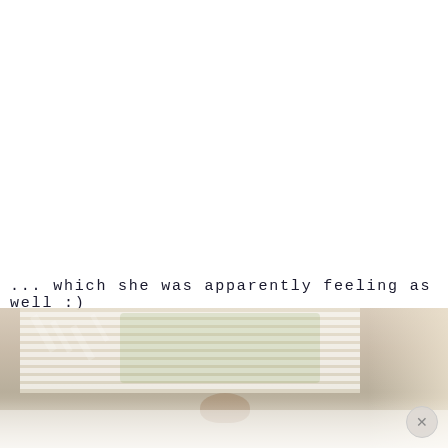... which she was apparently feeling as well :)
[Figure (photo): Interior photo showing window blinds casting light patterns, warm beige tones, partially visible person at bottom, reflective surface below, close/dismiss button in lower right corner.]